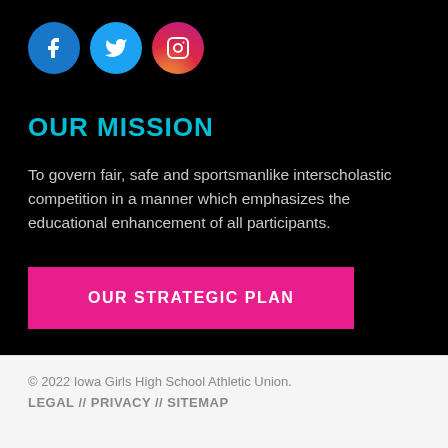[Figure (logo): Three social media icons: Facebook (blue circle with 'f'), Twitter (cyan circle with bird), Instagram (pink gradient circle with camera)]
OUR MISSION
To govern fair, safe and sportsmanlike interscholastic competition in a manner which emphasizes the educational enhancement of all participants.
OUR STRATEGIC PLAN
© 2022 Iowa Girls High School Athletic Union.
LEGAL // PRIVACY // SITEMAP